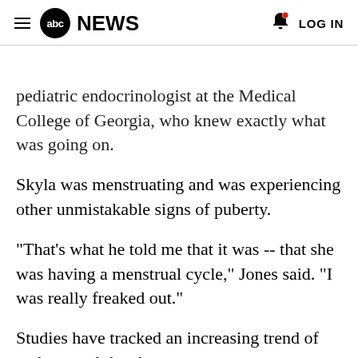abc NEWS  LOG IN
pediatric endocrinologist at the Medical College of Georgia, who knew exactly what was going on.
Skyla was menstruating and was experiencing other unmistakable signs of puberty.
"That's what he told me that it was -- that she was having a menstrual cycle," Jones said. "I was really freaked out."
Studies have tracked an increasing trend of early sexual development